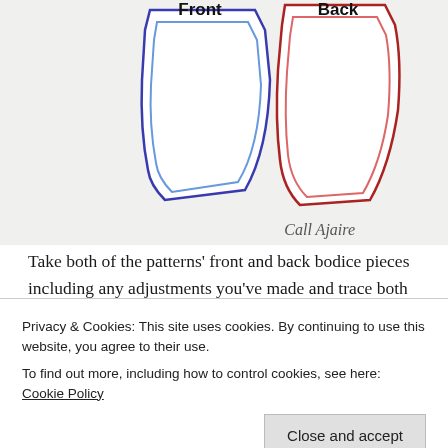[Figure (illustration): Diagram showing two sewing pattern bodice pieces side by side on a gray background. Left piece labeled 'Front' with blue outline, right piece labeled 'Back' with red outline. Watermark text 'Call Ajaire' in cursive at bottom right.]
Take both of the patterns' front and back bodice pieces including any adjustments you've made and trace both the seam line (stitching line) and the seam allowance. Always remember to double check the designer's seam allowances. The Lady Skater has a 3/8″ seam allowance and the Boss Top has a 1/2″ seam allowance so it is very
Privacy & Cookies: This site uses cookies. By continuing to use this website, you agree to their use.
To find out more, including how to control cookies, see here: Cookie Policy
allowance back in at the end.